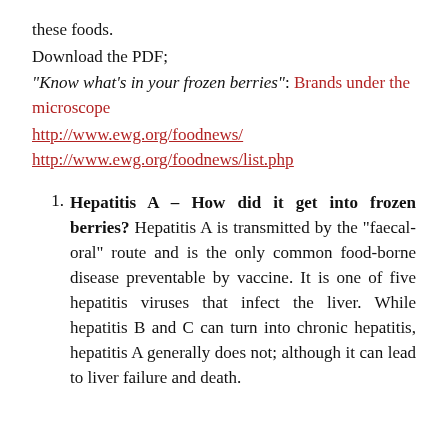these foods.
Download the PDF;
“Know what’s in your frozen berries”: Brands under the microscope
http://www.ewg.org/foodnews/
http://www.ewg.org/foodnews/list.php
Hepatitis A – How did it get into frozen berries? Hepatitis A is transmitted by the “faecal-oral” route and is the only common food-borne disease preventable by vaccine. It is one of five hepatitis viruses that infect the liver. While hepatitis B and C can turn into chronic hepatitis, hepatitis A generally does not; although it can lead to liver failure and death.